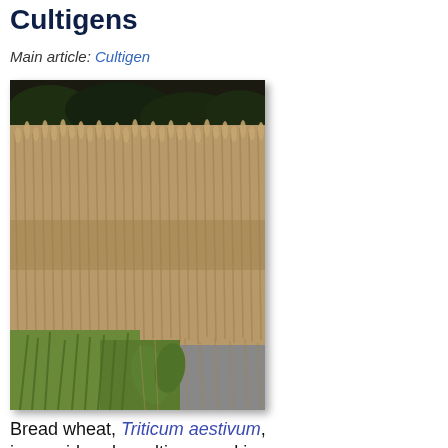Cultigens
Main article: Cultigen
[Figure (photo): A field of bread wheat (Triticum aestivum), showing dense golden-brown cereal stalks with ears, some green grass visible at the base, and dark trees in the background.]
Bread wheat, Triticum aestivum, is considered a cultigen, and is a distinct species from